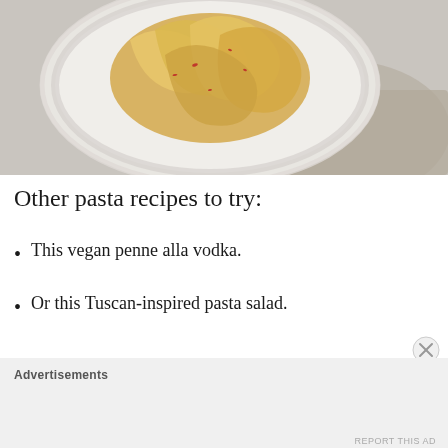[Figure (photo): Overhead view of a white bowl filled with twirled spaghetti pasta with red pepper flakes, on a gray stone surface with a linen cloth]
Other pasta recipes to try:
This vegan penne alla vodka.
Or this Tuscan-inspired pasta salad.
Advertisements
REPORT THIS AD